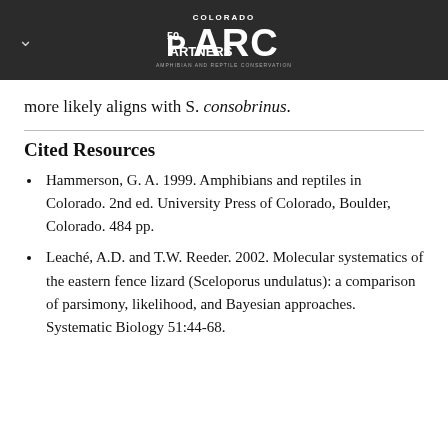Colorado PARC Partners — Amphibian and Reptile Conservation
more likely aligns with S. consobrinus.
Cited Resources
Hammerson, G. A. 1999. Amphibians and reptiles in Colorado. 2nd ed. University Press of Colorado, Boulder, Colorado. 484 pp.
Leaché, A.D. and T.W. Reeder. 2002. Molecular systematics of the eastern fence lizard (Sceloporus undulatus): a comparison of parsimony, likelihood, and Bayesian approaches. Systematic Biology 51:44-68.